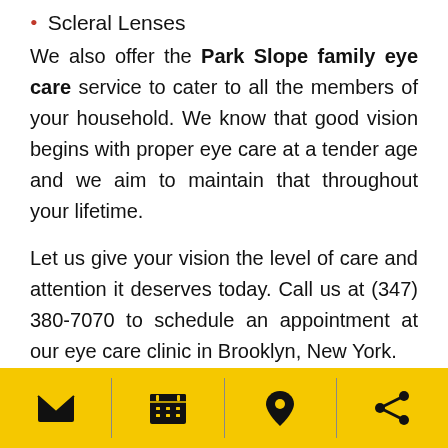Scleral Lenses
We also offer the Park Slope family eye care service to cater to all the members of your household. We know that good vision begins with proper eye care at a tender age and we aim to maintain that throughout your lifetime.
Let us give your vision the level of care and attention it deserves today. Call us at (347) 380-7070 to schedule an appointment at our eye care clinic in Brooklyn, New York.
Posted in Eye Care  Tagged eye care specialist, eye exam
[Figure (infographic): Yellow footer bar with four icons separated by vertical dividers: envelope/email icon, calendar icon, map pin/location icon, share icon]